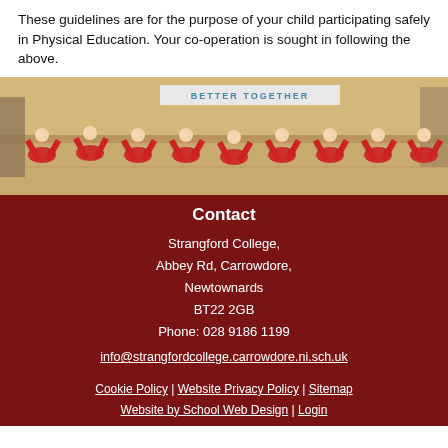These guidelines are for the purpose of your child participating safely in Physical Education.  Your co-operation is sought in following the above.
[Figure (photo): Students in a gymnasium doing backbend exercises in a row, wearing red and white uniforms. A 'Better Together' banner is visible in the background.]
Contact
Strangford College,
Abbey Rd, Carrowdore,
Newtownards
BT22 2GB
Phone: 028 9186 1199
info@strangfordcollege.carrowdore.ni.sch.uk
Cookie Policy | Website Privacy Policy | Sitemap
Website by School Web Design | Login